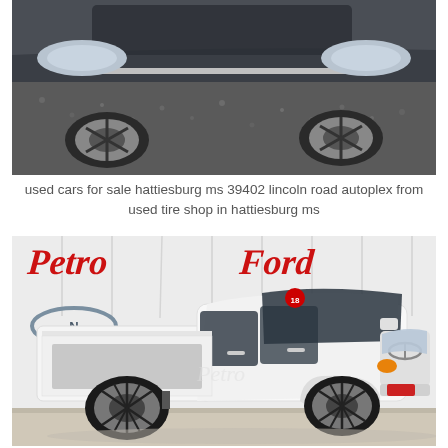[Figure (photo): Close-up photo of a car front showing headlights, hood, and windshield area from above, parked on gravel/asphalt surface.]
used cars for sale hattiesburg ms 39402 lincoln road autoplex from used tire shop in hattiesburg ms
[Figure (photo): Photo of a white Nissan Frontier pickup truck parked inside a dealership showroom. Background shows 'Petro Ford' signage in red cursive lettering and Nissan logo banners.]